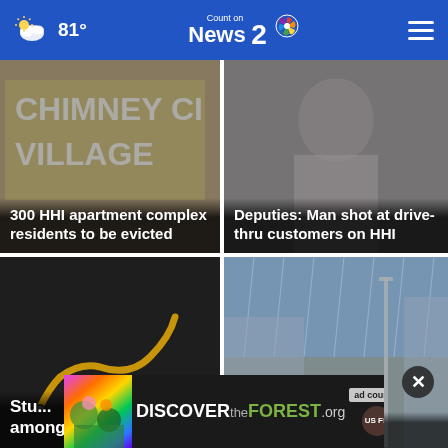81° Count on News 2
[Figure (screenshot): News card top-left: Sign reading CHIMNEY CI... VILLAGE, with text overlay '300 HHI apartment complex residents to be evicted']
[Figure (screenshot): News card top-right: Blurred photo of a person, with text overlay 'Deputies: Man shot at drive-thru customers on HHI']
[Figure (screenshot): News card bottom-left: Photo of a small snake or worm on dark background, with partial text 'Stu... among top 10...']
[Figure (screenshot): News card bottom-right: Rainy street scene photo with partial text '...stormwater' and a close button overlay]
[Figure (screenshot): Advertisement banner: DISCOVERtheFOREST.org with colorful forest background, ad council and US Forest Service logos]